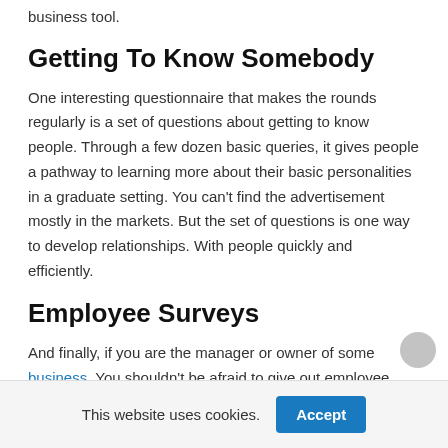business tool.
Getting To Know Somebody
One interesting questionnaire that makes the rounds regularly is a set of questions about getting to know people. Through a few dozen basic queries, it gives people a pathway to learning more about their basic personalities in a graduate setting. You can't find the advertisement mostly in the markets. But the set of questions is one way to develop relationships. With people quickly and efficiently.
Employee Surveys
And finally, if you are the manager or owner of some business. You shouldn't be afraid to give out employee
This website uses cookies.
Accept